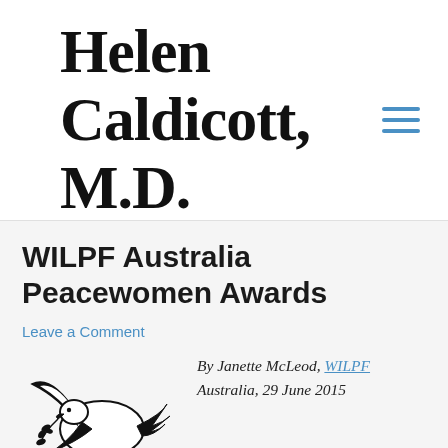Helen Caldicott, M.D.
WILPF Australia Peacewomen Awards
Leave a Comment
[Figure (illustration): Black and white line drawing of a dove in flight carrying an olive branch]
By Janette McLeod, WILPF Australia, 29 June 2015